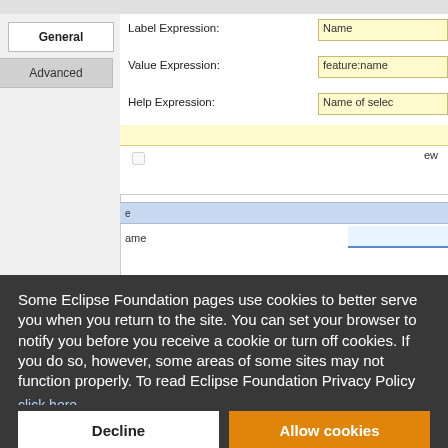[Figure (screenshot): Eclipse IDE UI panel showing General and Advanced tabs with Label Expression (Name), Value Expression (feature:name), Help Expression (Name of selec...) fields in yellow input boxes]
Some Eclipse Foundation pages use cookies to better serve you when you return to the site. You can set your browser to notify you before you receive a cookie or turn off cookies. If you do so, however, some areas of some sites may not function properly. To read Eclipse Foundation Privacy Policy click here.
Decline
Allow cookies
And it begin in the Widget Tree and creates a slot it can modify person's name.